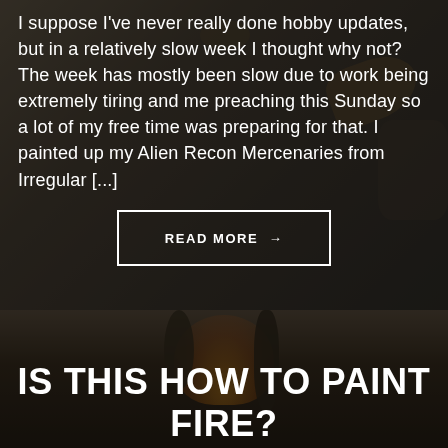[Figure (photo): Dark background photo of a miniature painting hobby workspace with paints, tools, and miniature figures on a messy desk]
I suppose I've never really done hobby updates, but in a relatively slow week I thought why not? The week has mostly been slow due to work being extremely tiring and me preaching this Sunday so a lot of my free time was preparing for that. I painted up my Alien Recon Mercenaries from Irregular [...]
READ MORE →
[Figure (photo): Dark background photo showing a painted miniature figure with fire-like orange and yellow textures on a black base, with coiled metal spring/cable visible]
IS THIS HOW TO PAINT FIRE?